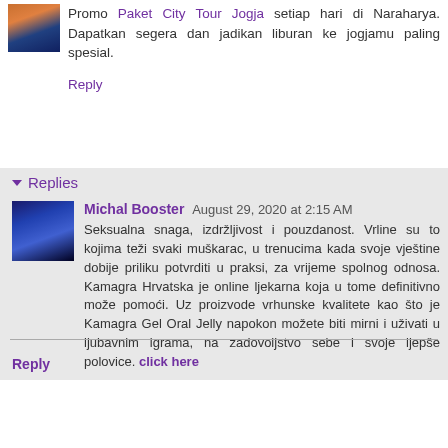Promo Paket City Tour Jogja setiap hari di Naraharya. Dapatkan segera dan jadikan liburan ke jogjamu paling spesial.
Reply
Replies
Michal Booster August 29, 2020 at 2:15 AM
Seksualna snaga, izdržljivost i pouzdanost. Vrline su to kojima teži svaki muškarac, u trenucima kada svoje vještine dobije priliku potvrditi u praksi, za vrijeme spolnog odnosa. Kamagra Hrvatska je online ljekarna koja u tome definitivno može pomoći. Uz proizvode vrhunske kvalitete kao što je Kamagra Gel Oral Jelly napokon možete biti mirni i uživati u ljubavnim igrama, na zadovoljstvo sebe i svoje ljepše polovice. click here
Reply